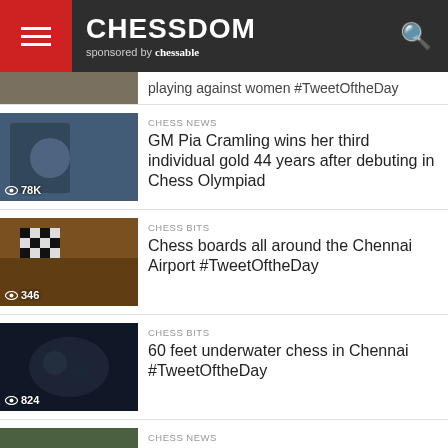CHESSDOM sponsored by chessable
playing against women #TweetOftheDay
[Figure (photo): Thumbnail photo with 78K views]
CHESS NEWS
GM Pia Cramling wins her third individual gold 44 years after debuting in Chess Olympiad
[Figure (photo): Thumbnail photo of chess board with 346 views]
CHESS BITS
Chess boards all around the Chennai Airport #TweetOftheDay
[Figure (photo): Thumbnail photo underwater chess with 824 views]
CHESS BITS
60 feet underwater chess in Chennai #TweetOftheDay
[Figure (photo): Thumbnail photo chess event with 3.7K views]
CHESS NEWS
IM Lela Javakhishvili scores an important win for Georgia defeating WIM Varshini